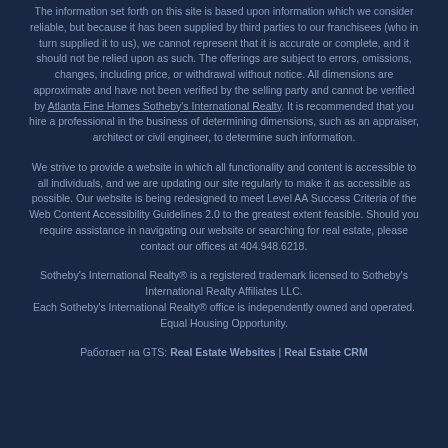The information set forth on this site is based upon information which we consider reliable, but because it has been supplied by third parties to our franchisees (who in turn supplied it to us), we cannot represent that it is accurate or complete, and it should not be relied upon as such. The offerings are subject to errors, omissions, changes, including price, or withdrawal without notice. All dimensions are approximate and have not been verified by the selling party and cannot be verified by Atlanta Fine Homes Sotheby's International Realty. It is recommended that you hire a professional in the business of determining dimensions, such as an appraiser, architect or civil engineer, to determine such information.
We strive to provide a website in which all functionality and content is accessible to all individuals, and we are updating our site regularly to make it as accessible as possible. Our website is being redesigned to meet Level AA Success Criteria of the Web Content Accessibility Guidelines 2.0 to the greatest extent feasible. Should you require assistance in navigating our website or searching for real estate, please contact our offices at 404.948.6218.
Sotheby's International Realty® is a registered trademark licensed to Sotheby's International Realty Affiliates LLC. Each Sotheby's International Realty® office is independently owned and operated. Equal Housing Opportunity.
Работает на GTS: Real Estate Websites | Real Estate CRM